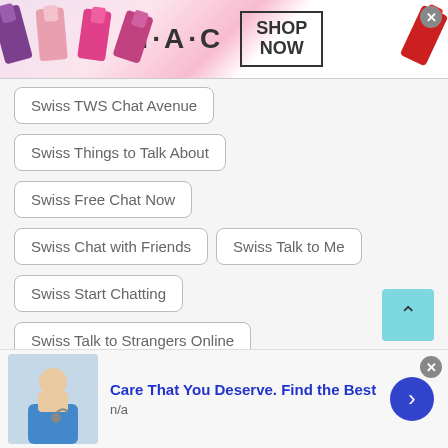[Figure (photo): MAC cosmetics advertisement banner with lipsticks on left, MAC logo in center, SHOP NOW box on right, and red lipstick on right edge]
Swiss TWS Chat Avenue
Swiss Things to Talk About
Swiss Free Chat Now
Swiss Chat with Friends
Swiss Talk to Me
Swiss Start Chatting
Swiss Talk to Strangers Online
Swiss Chat USA
Swiss Free Phone Chat
[Figure (photo): Bottom advertisement: doctor/healthcare worker image on left, 'Care That You Deserve. Find the Best' title in blue, 'n/a' subtitle, blue arrow button on right]